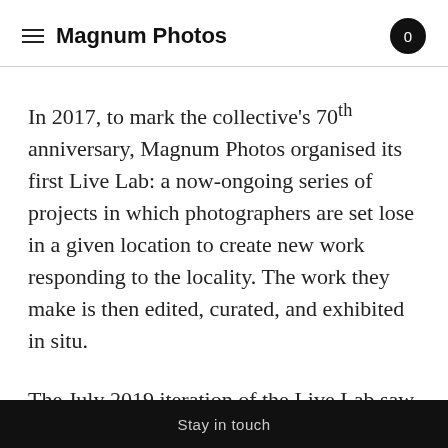Magnum Photos
In 2017, to mark the collective's 70th anniversary, Magnum Photos organised its first Live Lab: a now-ongoing series of projects in which photographers are set lose in a given location to create new work responding to the locality. The work they make is then edited, curated, and exhibited in situ.
The July 2019 iteration of the Live Lab saw three photographers with renowned – and uterly distinct – approaches to photographing cities: Gucorgui
Stay in touch